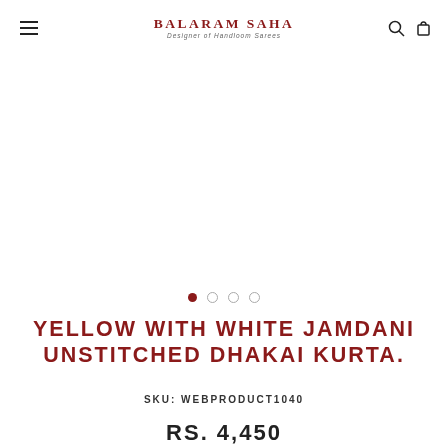BALARAM SAHA
Designer of Handloom Sarees
[Figure (other): Product image area (white/blank) with carousel dots indicator showing 4 dots, first dot active (filled dark red), rest empty circles]
YELLOW WITH WHITE JAMDANI UNSTITCHED DHAKAI KURTA.
SKU: WEBPRODUCT1040
RS. 4,450